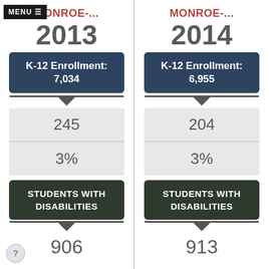MENU ≡ MONROE-... (2013) | MONROE-... (2014)
MONROE-...
2013
K-12 Enrollment: 7,034
245
3%
STUDENTS WITH DISABILITIES
906
MONROE-...
2014
K-12 Enrollment: 6,955
204
3%
STUDENTS WITH DISABILITIES
913